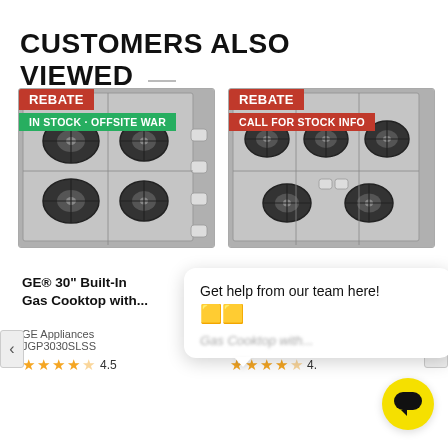CUSTOMERS ALSO VIEWED
[Figure (photo): GE 30 inch built-in gas cooktop with 4 burners, stainless steel, with REBATE badge in red and IN STOCK - OFFSITE WAR badge in green]
[Figure (photo): GE 36 inch built-in gas cooktop with 5 burners, stainless steel, with REBATE badge in red and CALL FOR STOCK INFO badge in red]
GE® 30" Built-In Gas Cooktop with...
GE Appliances
JGP3030SLSS
4.5
Gas Cooktop with...
GE Appliances
JGP3036SLSS
Get help from our team here!
[Figure (other): Yellow circular chat button with dark speech bubble icon]